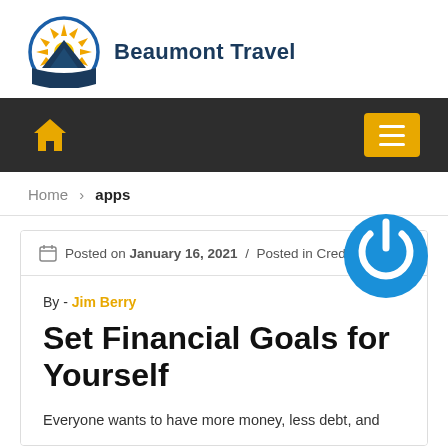[Figure (logo): Beaumont Travel logo: circular badge with orange sunburst and dark blue mountain shape, beside bold dark blue text 'Beaumont Travel']
Navigation bar with home icon and menu button
Home > apps
[Figure (logo): Blue circular power button icon overlay]
Posted on January 16, 2021  /  Posted in Credit Ca...
By - Jim Berry
Set Financial Goals for Yourself
Everyone wants to have more money, less debt, and